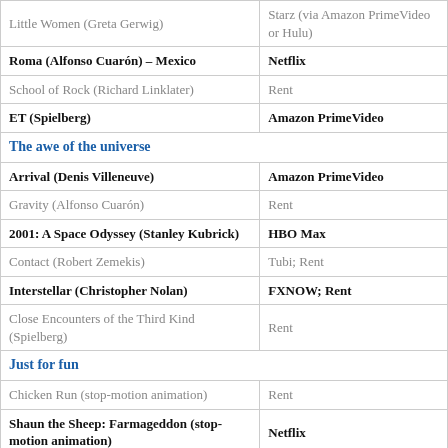| Film | Where to Watch |
| --- | --- |
| Little Women (Greta Gerwig) | Starz (via Amazon PrimeVideo or Hulu) |
| Roma (Alfonso Cuarón) – Mexico | Netflix |
| School of Rock (Richard Linklater) | Rent |
| ET (Spielberg) | Amazon PrimeVideo |
| The awe of the universe |  |
| Arrival (Denis Villeneuve) | Amazon PrimeVideo |
| Gravity (Alfonso Cuarón) | Rent |
| 2001: A Space Odyssey (Stanley Kubrick) | HBO Max |
| Contact (Robert Zemekis) | Tubi; Rent |
| Interstellar (Christopher Nolan) | FXNOW; Rent |
| Close Encounters of the Third Kind (Spielberg) | Rent |
| Just for fun |  |
| Chicken Run (stop-motion animation) | Rent |
| Shaun the Sheep: Farmageddon (stop-motion animation) | Netflix |
| Bringing Up Baby | HBO Max |
| A Hard Day's Night | HBO Max |